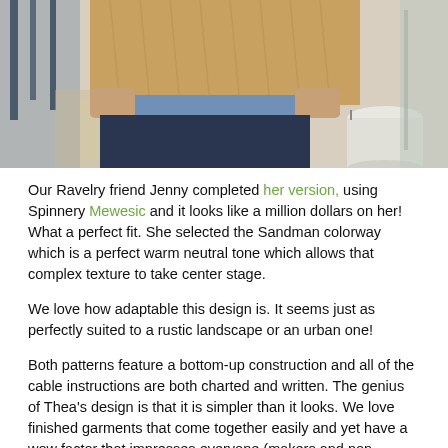[Figure (photo): A person wearing a tan/golden cable-knit sweater over a blue shirt and dark navy pants, holding a white bucket, standing on what appears to be a patio or deck area with railings visible.]
Our Ravelry friend Jenny completed her version, using Spinnery Mewesic and it looks like a million dollars on her!  What a perfect fit.  She selected the Sandman colorway which is a perfect warm neutral tone which allows that complex texture to take center stage.
We love how adaptable this design is.  It seems just as perfectly suited to a rustic landscape or an urban one!
Both patterns feature a bottom-up construction and all of the cable instructions are both charted and written.  The genius of Thea's design is that it is simpler than it looks.  We love finished garments that come together easily and yet have a wow factor that impresses everyone (makers and non-makers) alike.